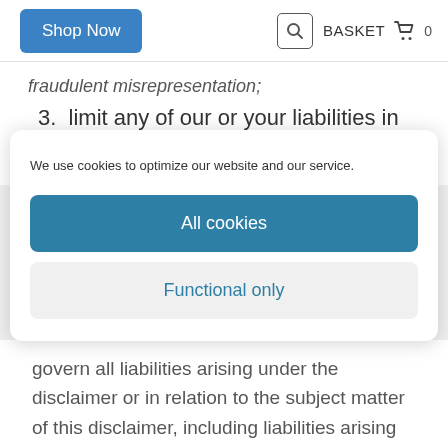Shop Now | BASKET 0
fraudulent misrepresentation;
3. limit any of our or your liabilities in any way
We use cookies to optimize our website and our service.
All cookies
Functional only
govern all liabilities arising under the disclaimer or in relation to the subject matter of this disclaimer, including liabilities arising in contract, in tort (including negligence) and for breach of statutory duty.